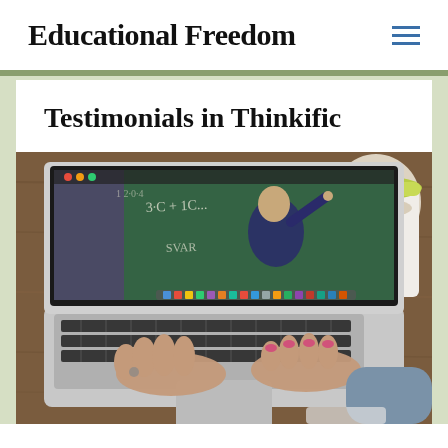Educational Freedom
Testimonials in Thinkific
[Figure (photo): A person typing on a MacBook Air laptop on a wooden desk. The laptop screen shows a video of a teacher writing on a chalkboard. A white coffee cup with a lime green lid is visible in the upper right corner.]